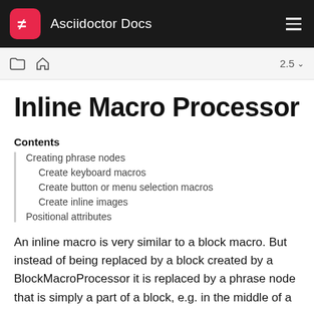Asciidoctor Docs
Inline Macro Processor
Contents
Creating phrase nodes
Create keyboard macros
Create button or menu selection macros
Create inline images
Positional attributes
An inline macro is very similar to a block macro. But instead of being replaced by a block created by a BlockMacroProcessor it is replaced by a phrase node that is simply a part of a block, e.g. in the middle of a